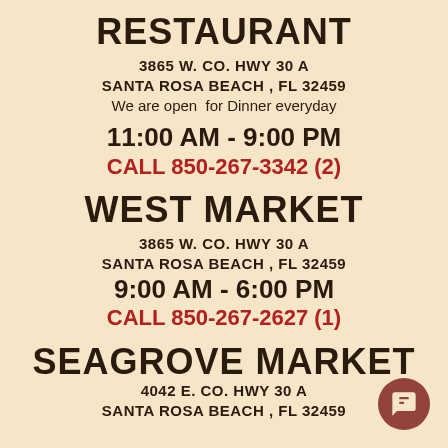RESTAURANT
3865 W. CO. HWY 30 A
SANTA ROSA BEACH , FL 32459
We are open  for Dinner everyday
11:00 AM - 9:00 PM
CALL 850-267-3342 (2)
WEST MARKET
3865 W. CO. HWY 30 A
SANTA ROSA BEACH , FL 32459
9:00 AM - 6:00 PM
CALL 850-267-2627 (1)
SEAGROVE MARKET
4042 E. CO. HWY 30 A
SANTA ROSA BEACH , FL 32459